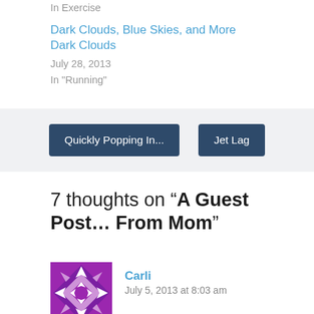In  Exercise
Dark Clouds, Blue Skies, and More Dark Clouds
July 28, 2013
In "Running"
Quickly Popping In...
Jet Lag
7 thoughts on “A Guest Post… From Mom”
Carli
July 5, 2013 at 8:03 am